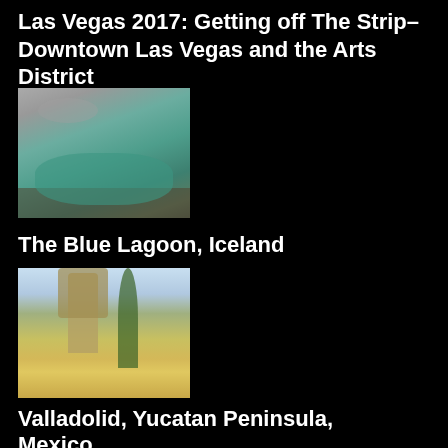Las Vegas 2017: Getting off The Strip–Downtown Las Vegas and the Arts District
[Figure (photo): Aerial or landscape photo of the Blue Lagoon, Iceland — geothermal pool with teal water and dark lava rocks]
The Blue Lagoon, Iceland
[Figure (photo): Cathedral or church building in Valladolid with palm trees, yellow facade visible at bottom]
Valladolid, Yucatan Peninsula, Mexico
[Figure (photo): Colorful Cuban-style building with horse-drawn carriage in front, vibrant yellow and green facade]
Tips for Your First Time Traveling Abroad